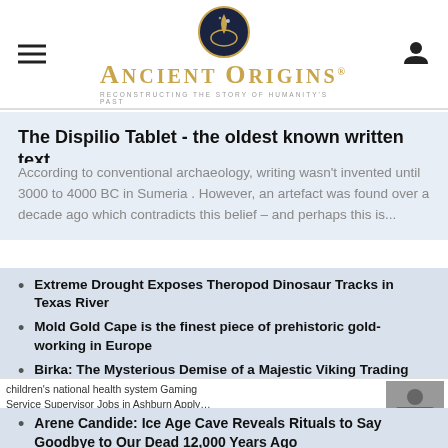Ancient Origins — Reconstructing the story of humanity's past
The Dispilio Tablet - the oldest known written text
According to conventional archaeology, writing wasn't invented until 3000 to 4000 BC in Sumeria . However, an artefact was found over a decade ago which contradicts this belief – and perhaps this is...
Extreme Drought Exposes Theropod Dinosaur Tracks in Texas River
Mold Gold Cape is the finest piece of prehistoric gold-working in Europe
Birka: The Mysterious Demise of a Majestic Viking Trading Center
children's national health system Gaming Service Supervisor Jobs in Ashburn Apply… jiobble.com
Arene Candide: Ice Age Cave Reveals Rituals to Say Goodbye to Our Dead 12,000 Years Ago